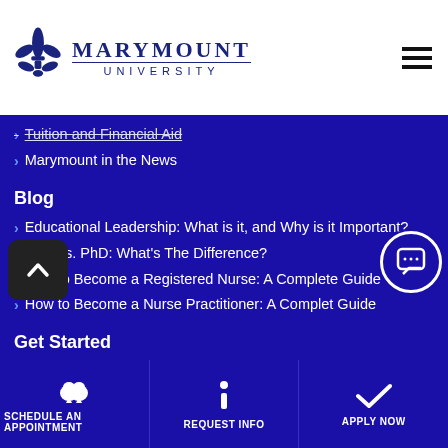Marymount University
Tuition and Financial Aid
Marymount in the News
Blog
Educational Leadership: What is it, and Why is it Important?
DBA vs. PhD: What's The Difference?
How to Become a Registered Nurse: A Complete Guide
How to Become a Nurse Practitioner: A Complete Guide
Get Started
SCHEDULE AN APPOINTMENT | REQUEST INFO | APPLY NOW